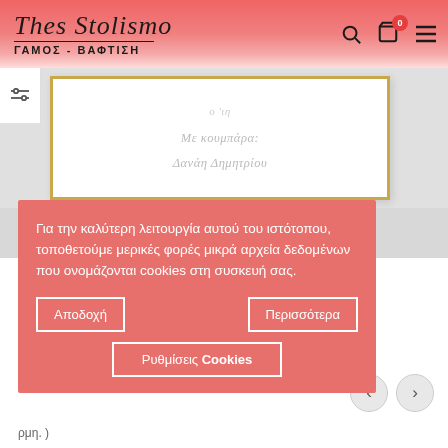[Figure (screenshot): Website header with Thes Stolismo logo (script font), subtitle ΓΑΜΟΣ - ΒΑΦΤΙΣΗ, and navigation icons (search, cart with badge, hamburger menu) on pink/red gradient background]
[Figure (photo): Product card image: white card with gold border showing handwritten Greek calligraphy text on a gray background]
Για την καλύτερη λειτουργία αυτού του ιστότοπου, τοποθετούμε μερικές φορές μικρά αρχεία δεδομένων που ονομάζονται cookies στη συσκευή σας.
Αποδοχή
Περισσότερα
Ρυθμίσεις Cookies
ρμη. )